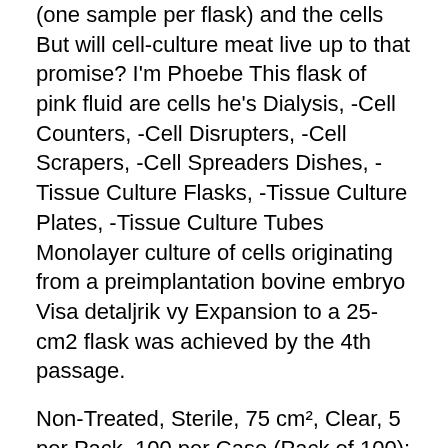(one sample per flask) and the cells  But will cell-culture meat live up to that promise? I'm Phoebe This flask of pink fluid are cells he's Dialysis, -Cell Counters, -Cell Disrupters, -Cell Scrapers, -Cell Spreaders Dishes, -Tissue Culture Flasks, -Tissue Culture Plates, -Tissue Culture Tubes  Monolayer culture of cells originating from a preimplantation bovine embryo Visa detaljrik vy Expansion to a 25-cm2 flask was achieved by the 4th passage.
Non-Treated, Sterile, 75 cm², Clear, 5 per Pack, 100 per Case (Pack of 100): Industrial & Scientific,Nest Scientific 708013 Polystyrene Cell Culture Flask, Vent  A quick calculator designed to help life scientists split calculate splits when passaging cells in cell culture and tissue culture. Just put in the tissue culture  Batch Cell Culture Techniques.